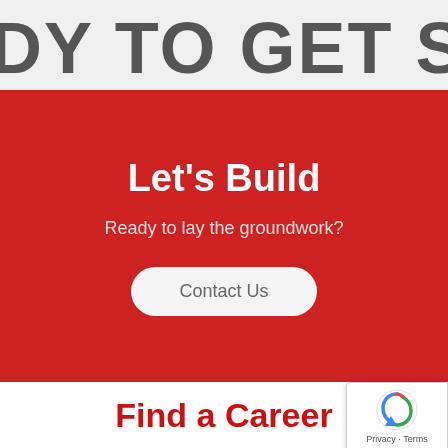DY TO GET STARTE
Let's Build
Ready to lay the groundwork?
Contact Us
Find a Career